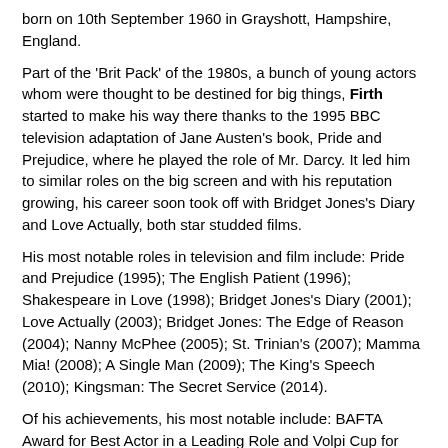born on 10th September 1960 in Grayshott, Hampshire, England.
Part of the 'Brit Pack' of the 1980s, a bunch of young actors whom were thought to be destined for big things, Firth started to make his way there thanks to the 1995 BBC television adaptation of Jane Austen's book, Pride and Prejudice, where he played the role of Mr. Darcy. It led him to similar roles on the big screen and with his reputation growing, his career soon took off with Bridget Jones's Diary and Love Actually, both star studded films.
His most notable roles in television and film include: Pride and Prejudice (1995); The English Patient (1996); Shakespeare in Love (1998); Bridget Jones's Diary (2001); Love Actually (2003); Bridget Jones: The Edge of Reason (2004); Nanny McPhee (2005); St. Trinian's (2007); Mamma Mia! (2008); A Single Man (2009); The King's Speech (2010); Kingsman: The Secret Service (2014).
Of his achievements, his most notable include: BAFTA Award for Best Actor in a Leading Role and Volpi Cup for Best Actor (A Single Man, 2009); Academy Award for Best Actor, BAFTA Award for Best Actor in a Leading Role, Golden Globe Award for Best Actor and Screen Actors Guild Award for Outstanding Performance by a Male Actor in a Leading Role (The King's Speech, 2010).
-YOU ARE VIEWING A SUPERB, SIGNED COLOUR PHOTOGRAPH OF